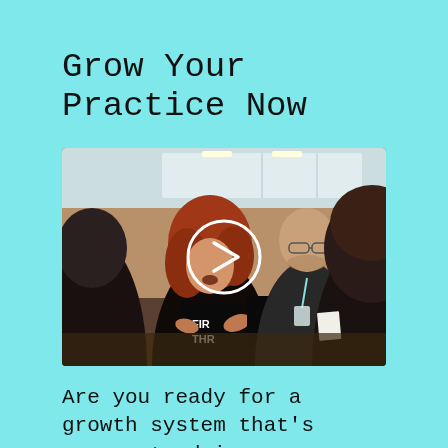Grow Your Practice Now
[Figure (photo): A group of people in a meeting or workshop setting in an office environment. A woman with red hair in a black shirt appears to be speaking, a bearded man with glasses in a dark jacket is listening, and other participants are visible. A white play button overlay is centered on the image.]
Are you ready for a growth system that's proven to drive exponential results for